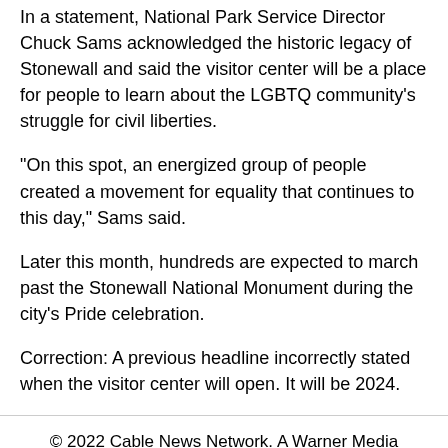In a statement, National Park Service Director Chuck Sams acknowledged the historic legacy of Stonewall and said the visitor center will be a place for people to learn about the LGBTQ community's struggle for civil liberties.
"On this spot, an energized group of people created a movement for equality that continues to this day," Sams said.
Later this month, hundreds are expected to march past the Stonewall National Monument during the city's Pride celebration.
Correction: A previous headline incorrectly stated when the visitor center will open. It will be 2024.
© 2022 Cable News Network. A Warner Media Company. All Rights Reserved.
Listen to CNN (low-bandwidth usage)
Go to the full CNN experience